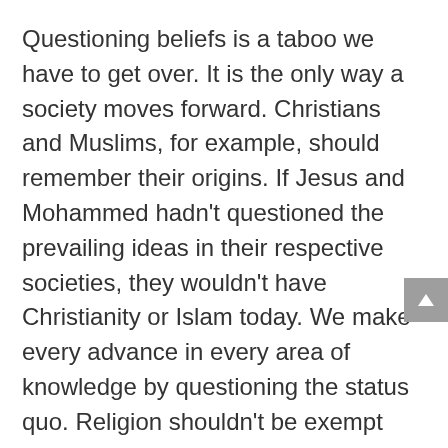Questioning beliefs is a taboo we have to get over. It is the only way a society moves forward. Christians and Muslims, for example, should remember their origins. If Jesus and Mohammed hadn't questioned the prevailing ideas in their respective societies, they wouldn't have Christianity or Islam today. We make every advance in every area of knowledge by questioning the status quo. Religion shouldn't be exempt from that.
Dame Lyndsey Freer, spokeswoman for the Catholic diocese of Auckland,